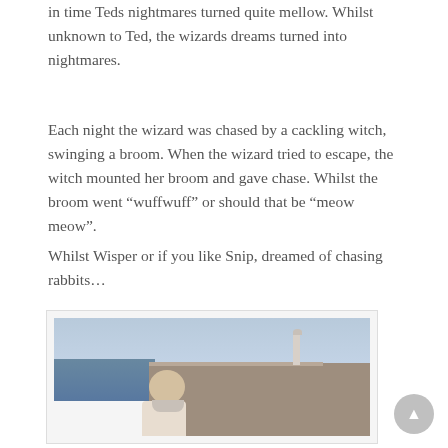in time Teds nightmares turned quite mellow. Whilst unknown to Ted, the wizards dreams turned into nightmares.
Each night the wizard was chased by a cackling witch, swinging a broom. When the wizard tried to escape, the witch mounted her broom and gave chase. Whilst the broom went “wuffwuff” or should that be “meow meow”.
Whilst Wisper or if you like Snip, dreamed of chasing rabbits…
[Figure (photo): An elderly bald man with a white beard wearing a light check shirt, standing outdoors near a harbour wall with a lighthouse in the background, with sea visible to the left. The image is in a bordered frame.]